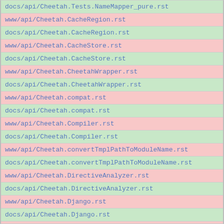| docs/api/Cheetah.Tests.NameMapper_pure.rst |
| www/api/Cheetah.CacheRegion.rst |
| docs/api/Cheetah.CacheRegion.rst |
| www/api/Cheetah.CacheStore.rst |
| docs/api/Cheetah.CacheStore.rst |
| www/api/Cheetah.CheetahWrapper.rst |
| docs/api/Cheetah.CheetahWrapper.rst |
| www/api/Cheetah.compat.rst |
| docs/api/Cheetah.compat.rst |
| www/api/Cheetah.Compiler.rst |
| docs/api/Cheetah.Compiler.rst |
| www/api/Cheetah.convertTmplPathToModuleName.rst |
| docs/api/Cheetah.convertTmplPathToModuleName.rst |
| www/api/Cheetah.DirectiveAnalyzer.rst |
| docs/api/Cheetah.DirectiveAnalyzer.rst |
| www/api/Cheetah.Django.rst |
| docs/api/Cheetah.Django.rst |
| www/api/Cheetah.DummyTransaction.rst |
| docs/api/Cheetah.DummyTransaction.rst |